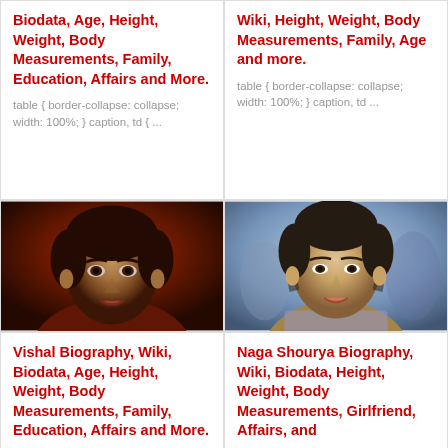Biodata, Age, Height, Weight, Body Measurements, Family, Education, Affairs and More.
table { border-collapse: collapse; width: 100%; } caption, td { ...
Wiki, Height, Weight, Body Measurements, Family, Age and more.
table { border-collapse: collapse; width: 100%; } caption, td ...
[Figure (photo): Male actor portrait, dramatic lighting, close-up face]
[Figure (photo): Young male actor portrait, casual setting, smiling]
Vishal Biography, Wiki, Biodata, Age, Height, Weight, Body Measurements, Family, Education, Affairs and More.
Naga Shourya Biography, Wiki, Biodata, Height, Weight, Body Measurements, Girlfriend, Affairs, and